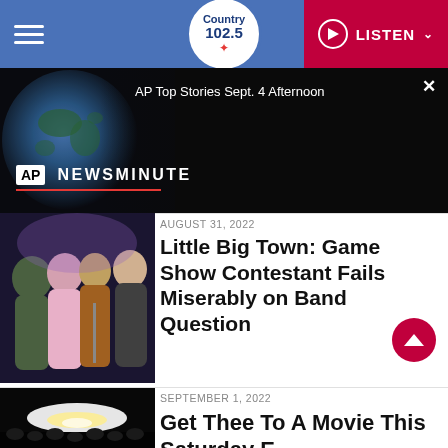Country 102.5 — LISTEN
[Figure (screenshot): AP Newsminute banner with globe imagery and text 'AP Top Stories Sept. 4 Afternoon']
[Figure (photo): Little Big Town band members on stage]
August 31, 2022
Little Big Town: Game Show Contestant Fails Miserably on Band Question
[Figure (photo): Concert or movie scene with bright light effect]
September 1, 2022
Get Thee To A Movie This Saturday E…